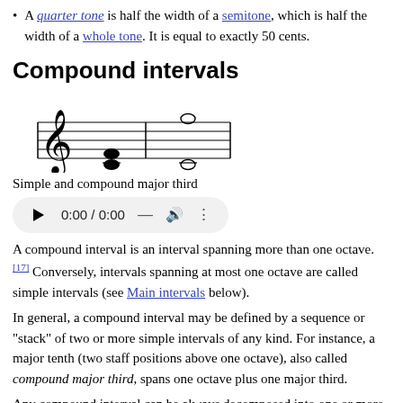A quarter tone is half the width of a semitone, which is half the width of a whole tone. It is equal to exactly 50 cents.
Compound intervals
[Figure (illustration): Musical staff showing simple and compound major third: a treble clef with a double whole note chord (C and E) on the left, and two separate whole notes (C and E an octave plus third apart) on the right.]
Simple and compound major third
[Figure (other): Audio player widget showing play button, time 0:00 / 0:00, a dash button, a speaker/volume icon, and a three-dots menu icon.]
A compound interval is an interval spanning more than one octave. [17] Conversely, intervals spanning at most one octave are called simple intervals (see Main intervals below).
In general, a compound interval may be defined by a sequence or "stack" of two or more simple intervals of any kind. For instance, a major tenth (two staff positions above one octave), also called compound major third, spans one octave plus one major third.
Any compound interval can be always decomposed into one or more octaves plus one simple interval. For instance, a major